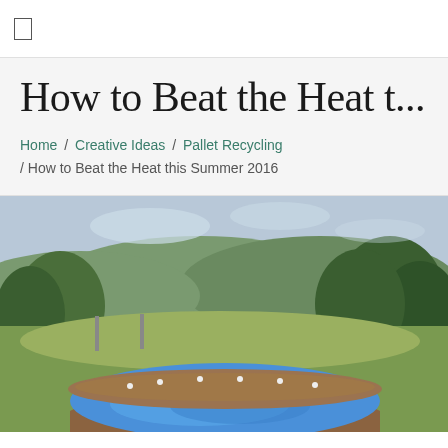☐
How to Beat the Heat t...
Home / Creative Ideas / Pallet Recycling / How to Beat the Heat this Summer 2016
[Figure (photo): Outdoor DIY pool made from pallets with a blue tarp lining, surrounded by green hills and trees in the background]